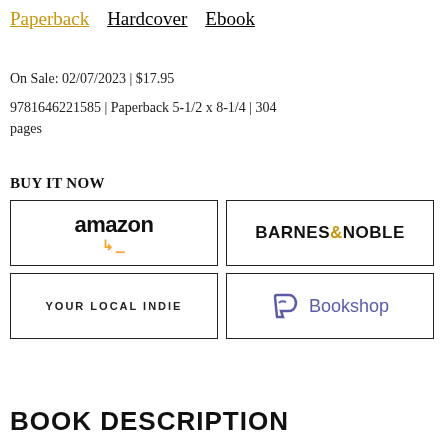Paperback | Hardcover | Ebook
On Sale: 02/07/2023 | $17.95
9781646221585 | Paperback 5-1/2 x 8-1/4 | 304 pages
BUY IT NOW
[Figure (logo): Amazon logo with orange arrow]
[Figure (logo): Barnes & Noble logo]
[Figure (logo): Your Local Indie text button]
[Figure (logo): Bookshop logo with purple B icon]
BOOK DESCRIPTION